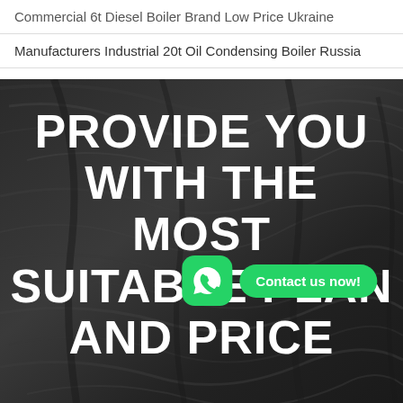Commercial 6t Diesel Boiler Brand Low Price Ukraine
Manufacturers Industrial 20t Oil Condensing Boiler Russia
[Figure (photo): Dark textured wood grain background with large white bold text overlay reading PROVIDE YOU WITH THE MOST SUITABLE PLAN AND PRICE, and a WhatsApp contact widget in the center-right]
PROVIDE YOU WITH THE MOST SUITABLE PLAN AND PRICE